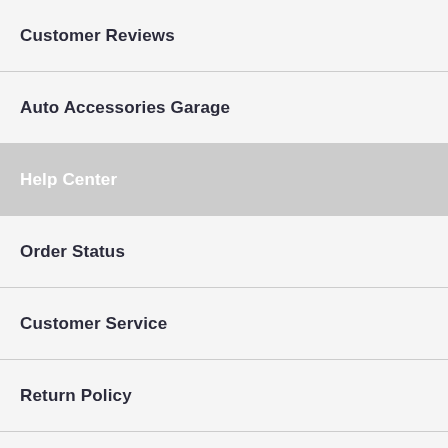Customer Reviews
Auto Accessories Garage
Help Center
Order Status
Customer Service
Return Policy
Shipping Information
FAQs